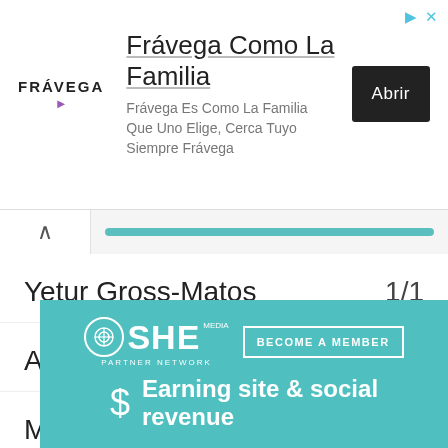[Figure (screenshot): Advertisement banner for Frávega with logo, text 'Frávega Como La Familia', subtext, and 'Abrir' button]
[Figure (screenshot): Navigation row with back chevron button and teal progress bar]
Yetur Gross-Matos   1/1
A.J. Epenesa   2/1
Marlon Davidson   9/2
[Figure (screenshot): SHE Media Partner Network advertisement with 'Become a Member' button and 'Earning site & social revenue' text]